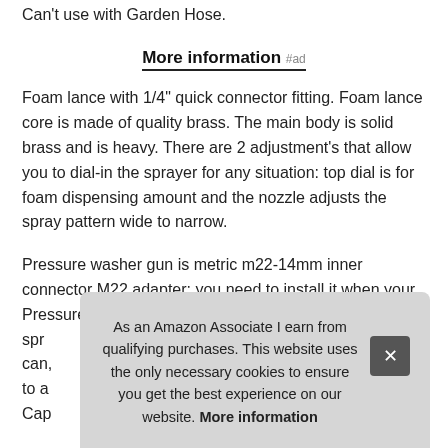Can't use with Garden Hose.
More information #ad
Foam lance with 1/4" quick connector fitting. Foam lance core is made of quality brass. The main body is solid brass and is heavy. There are 2 adjustment's that allow you to dial-in the sprayer for any situation: top dial is for foam dispensing amount and the nozzle adjusts the spray pattern wide to narrow.
Pressure washer gun is metric m22-14mm inner connector M22 adapter: you need to install it when your Pressure Washer hos… spr… can… to a… Cap…
As an Amazon Associate I earn from qualifying purchases. This website uses the only necessary cookies to ensure you get the best experience on our website. More information